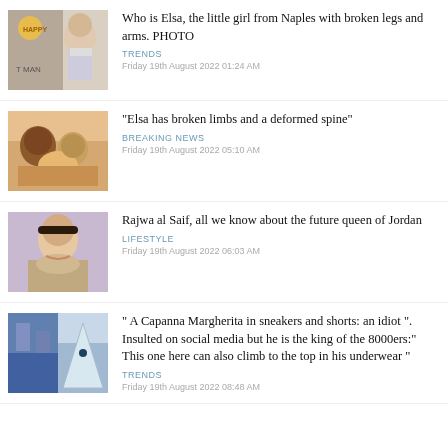[Figure (photo): Thumbnail photo: person with mask and 'HAPPY' text overlay]
Who is Elsa, the little girl from Naples with broken legs and arms. PHOTO
TRENDS
Friday 19th August 2022 01:24 AM
[Figure (photo): Thumbnail photo: group of people, child on bed]
“Elsa has broken limbs and a deformed spine”
BREAKING NEWS
Friday 19th August 2022 05:10 AM
[Figure (photo): Thumbnail photo: woman smiling, portrait shot]
Rajwa al Saif, all we know about the future queen of Jordan
LIFESTYLE
Friday 19th August 2022 06:03 AM
[Figure (photo): Thumbnail photo: split image of building and snowy mountain climber]
“ A Capanna Margherita in sneakers and shorts: an idiot ”. Insulted on social media but he is the king of the 8000ers:” This one here can also climb to the top in his underwear “
TRENDS
Friday 19th August 2022 08:48 AM